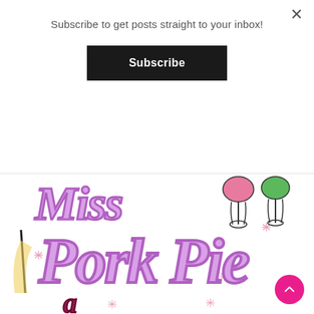Subscribe to get posts straight to your inbox!
[Figure (illustration): Subscribe button — black rectangular button with white bold text reading 'Subscribe']
[Figure (logo): Miss Pork Pie blog logo — stylized cursive lavender/purple text 'Miss Pork Pie' with illustrated champagne glasses (pink and green) and sparkle/star decorations on white background]
[Figure (illustration): Partial bottom section of Miss Pork Pie logo with a dark red/maroon cursive letter visible and sparkle decorations]